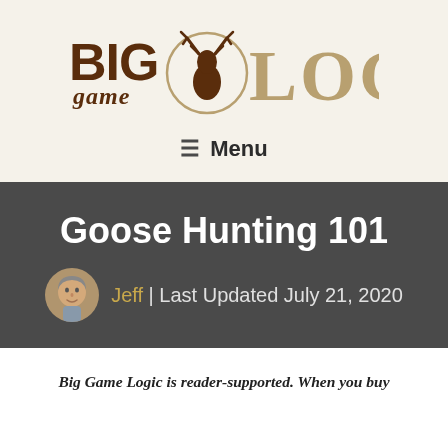[Figure (logo): Big Game Logic logo with deer head silhouette inside a circle, stylized text reading BIG game LOGIC in brown and tan colors]
≡ Menu
Goose Hunting 101
Jeff | Last Updated July 21, 2020
Big Game Logic is reader-supported. When you buy